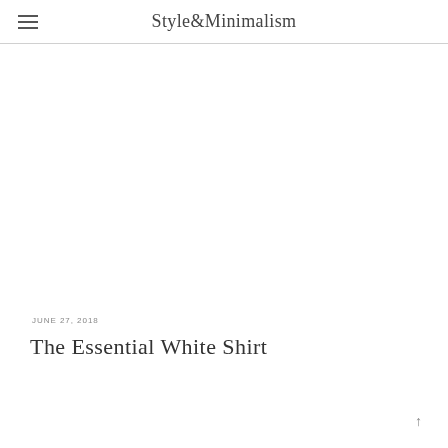Style&Minimalism
JUNE 27, 2018
The Essential White Shirt